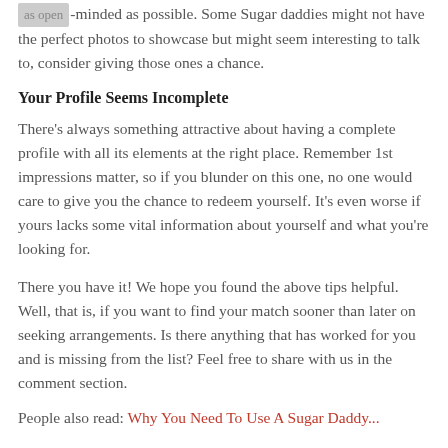as open-minded as possible. Some Sugar daddies might not have the perfect photos to showcase but might seem interesting to talk to, consider giving those ones a chance.
Your Profile Seems Incomplete
There's always something attractive about having a complete profile with all its elements at the right place. Remember 1st impressions matter, so if you blunder on this one, no one would care to give you the chance to redeem yourself. It's even worse if yours lacks some vital information about yourself and what you're looking for.
There you have it! We hope you found the above tips helpful. Well, that is, if you want to find your match sooner than later on seeking arrangements. Is there anything that has worked for you and is missing from the list? Feel free to share with us in the comment section.
People also read: Why You Need To Use A Sugar Daddy...